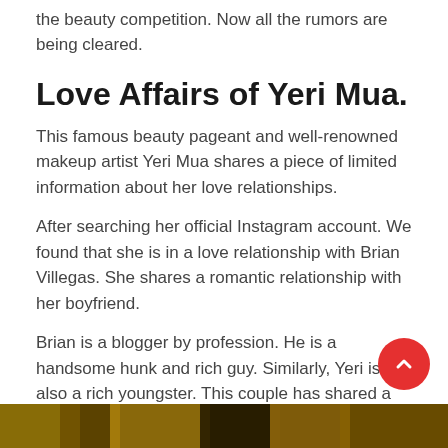the beauty competition. Now all the rumors are being cleared.
Love Affairs of Yeri Mua.
This famous beauty pageant and well-renowned makeup artist Yeri Mua shares a piece of limited information about her love relationships.
After searching her official Instagram account. We found that she is in a love relationship with Brian Villegas. She shares a romantic relationship with her boyfriend.
Brian is a blogger by profession. He is a handsome hunk and rich guy. Similarly, Yeri is also a rich youngster. This couple has shared a good and healthy romantic relationship with each other. Now they are living as a happy couple.
[Figure (photo): Bottom portion of a photo visible at the bottom of the page, yellowish/dark tones]